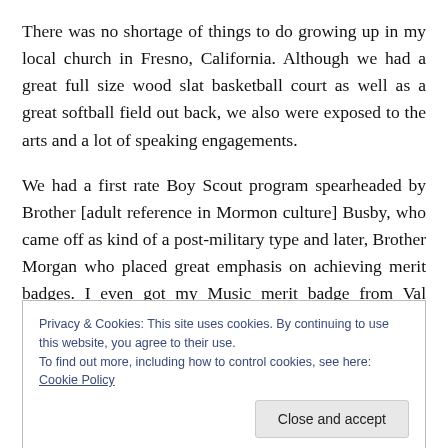There was no shortage of things to do growing up in my local church in Fresno, California. Although we had a great full size wood slat basketball court as well as a great softball field out back, we also were exposed to the arts and a lot of speaking engagements.
We had a first rate Boy Scout program spearheaded by Brother [adult reference in Mormon culture] Busby, who came off as kind of a post-military type and later, Brother Morgan who placed great emphasis on achieving merit badges. I even got my Music merit badge from Val Hicks,
Privacy & Cookies: This site uses cookies. By continuing to use this website, you agree to their use.
To find out more, including how to control cookies, see here: Cookie Policy
Close and accept
time or another in the Fresno Fifth Ward and we got into a